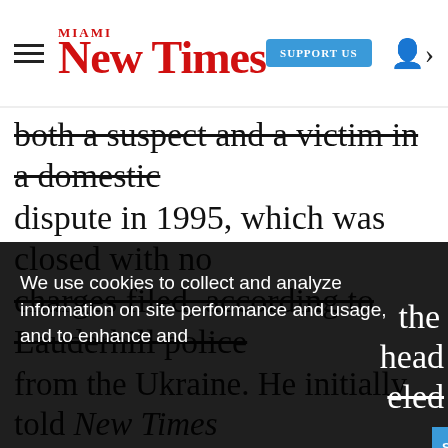Miami New Times — SUPPORT US
both a suspect and a victim in a domestic dispute in 1995, which was closed with no charges filed, according to Lauderhill police
We use cookies to collect and analyze information on site performance and usage, and to enhance and advertisements. By continuing to use the cookies to be placed our cookies policy a
Sponsored Content - Giardi: Dawson Kn...
Got it!
he t over
from the Ukraine. He initially told New Times